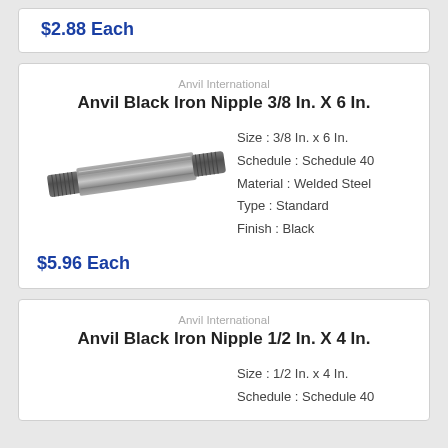$2.88 Each
Anvil International
Anvil Black Iron Nipple 3/8 In. X 6 In.
[Figure (photo): Black iron pipe nipple, 3/8 inch x 6 inch, shown at a slight angle]
Size : 3/8 In. x 6 In.
Schedule : Schedule 40
Material : Welded Steel
Type : Standard
Finish : Black
$5.96 Each
Anvil International
Anvil Black Iron Nipple 1/2 In. X 4 In.
Size : 1/2 In. x 4 In.
Schedule : Schedule 40